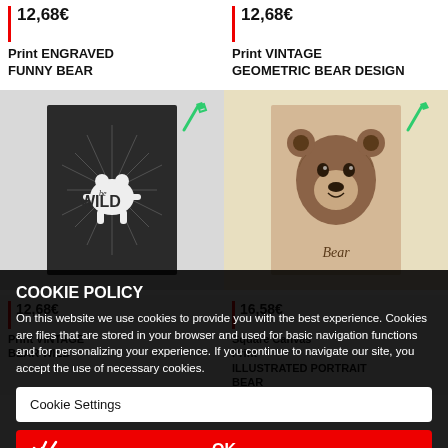Print ENGRAVED FUNNY BEAR | 12,68€
Print VINTAGE GEOMETRIC BEAR DESIGN | 12,68€
[Figure (photo): Dark chalkboard print with 'be WILD' text and bear silhouette with starburst design]
[Figure (photo): Illustrated portrait of a bear on light tan/wood background with 'Bear' text in script]
Print VINTAGE BEAR WILD | 12,68€
Square Canvas Print ILLUSTRATED PORTRAIT BEAR | 16,58€
COOKIE POLICY
On this website we use cookies to provide you with the best experience. Cookies are files that are stored in your browser and used for basic navigation functions and for personalizing your experience. If you continue to navigate our site, you accept the use of necessary cookies.
Cookie Settings
OK